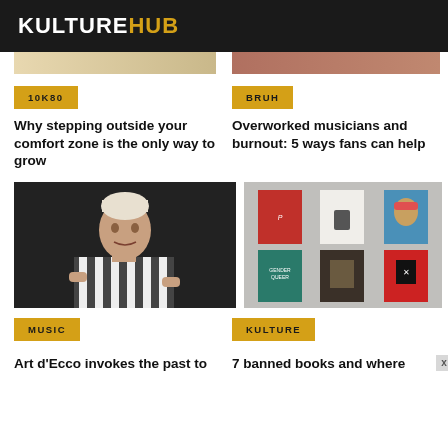KULTUREHUB
10K80
Why stepping outside your comfort zone is the only way to grow
BRUH
Overworked musicians and burnout: 5 ways fans can help
[Figure (photo): Person with short white/blond hair wearing a black and white striped shirt against a dark background]
[Figure (photo): Six book covers arranged in a 2x3 grid on a grey background, including books about gender and banned topics]
MUSIC
Art d'Ecco invokes the past to
KULTURE
7 banned books and where